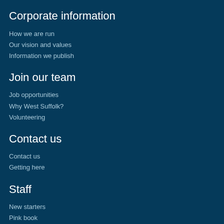Corporate information
How we are run
Our vision and values
Information we publish
Join our team
Job opportunities
Why West Suffolk?
Volunteering
Contact us
Contact us
Getting here
Staff
New starters
Pink book